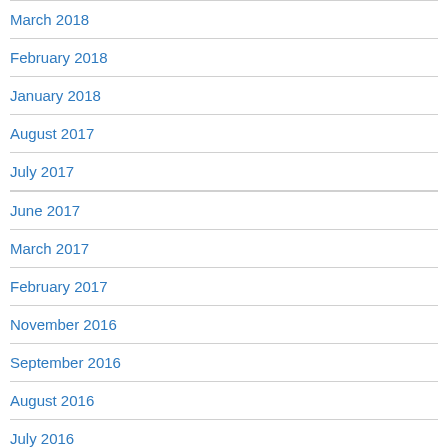March 2018
February 2018
January 2018
August 2017
July 2017
June 2017
March 2017
February 2017
November 2016
September 2016
August 2016
July 2016
June 2016